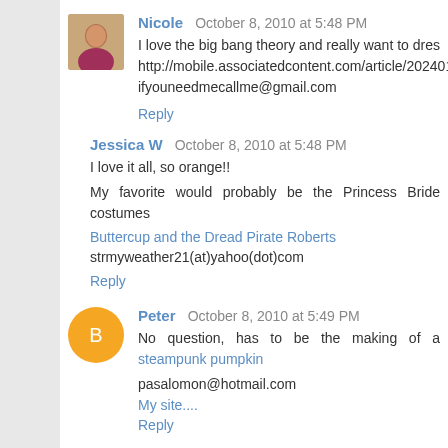Nicole  October 8, 2010 at 5:48 PM
I love the big bang theory and really want to dress http://mobile.associatedcontent.com/article/2024014/the_bi ifyouneedmecallme@gmail.com
Reply
Jessica W  October 8, 2010 at 5:48 PM
I love it all, so orange!!
My favorite would probably be the Princess Bride costumes
Buttercup and the Dread Pirate Roberts
strmyweather21(at)yahoo(dot)com
Reply
Peter  October 8, 2010 at 5:49 PM
No question, has to be the making of a steampunk pumpkin
pasalomon@hotmail.com
My site....
Reply